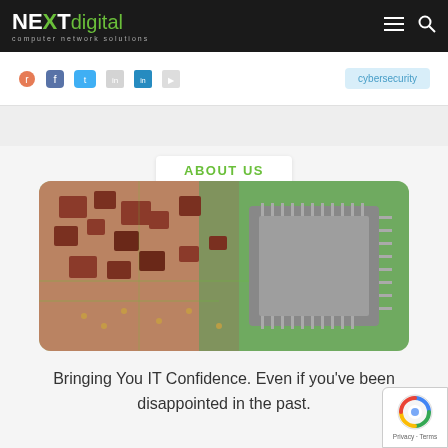NEXTdigital computer network solutions
cybersecurity
ABOUT US
[Figure (photo): Close-up macro photo of a computer circuit board with a CPU chip in focus, showing green PCB traces and red/brown components]
Bringing You IT Confidence. Even if you've been disappointed in the past.